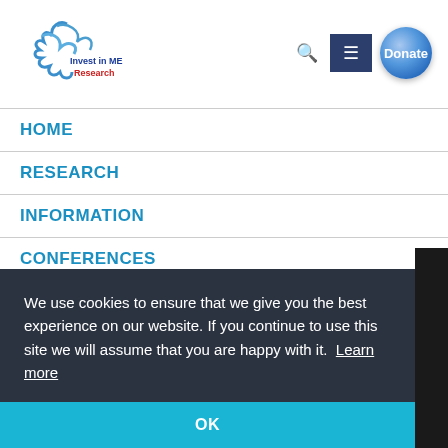[Figure (logo): Invest in ME Research logo with stylized bird/figure in blue and red text]
HOME
RESEARCH
INFORMATION
CONFERENCES
FUNDRAISING
NEWS
We use cookies to ensure that we give you the best experience on our website. If you continue to use this site we will assume that you are happy with it. Learn more